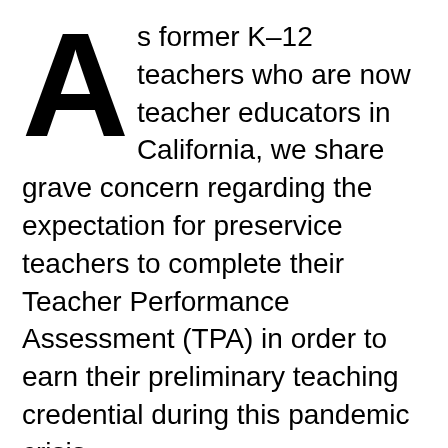As former K–12 teachers who are now teacher educators in California, we share grave concern regarding the expectation for preservice teachers to complete their Teacher Performance Assessment (TPA) in order to earn their preliminary teaching credential during this pandemic crisis.
COVID-19 has disrupted teacher education programs across the country. With schools being shut down, distance learning has highlighted and exacerbated educational